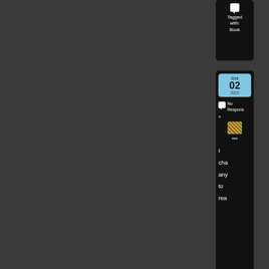[Figure (screenshot): Partial sidebar widget on dark background showing 'Tagged with: Book' text with chat bubble icon]
[Figure (screenshot): Partial sidebar calendar widget showing Oct 02 2015, No Responses, a thumbnail image, *** separator, and partial text 'I cha any to rea']